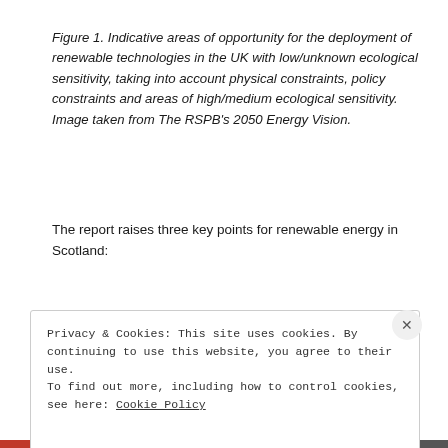Figure 1. Indicative areas of opportunity for the deployment of renewable technologies in the UK with low/unknown ecological sensitivity, taking into account physical constraints, policy constraints and areas of high/medium ecological sensitivity. Image taken from The RSPB's 2050 Energy Vision.
The report raises three key points for renewable energy in Scotland:
Privacy & Cookies: This site uses cookies. By continuing to use this website, you agree to their use.
To find out more, including how to control cookies, see here: Cookie Policy